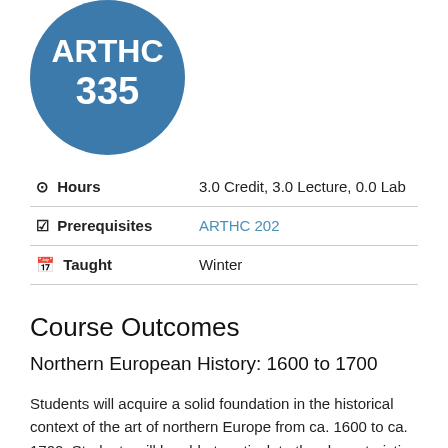[Figure (logo): Blue circle with white text ARTHC 335]
| Field | Value |
| --- | --- |
| ⊙ Hours | 3.0 Credit, 3.0 Lecture, 0.0 Lab |
| ☑ Prerequisites | ARTHC 202 |
| 📅 Taught | Winter |
Course Outcomes
Northern European History: 1600 to 1700
Students will acquire a solid foundation in the historical context of the art of northern Europe from ca. 1600 to ca. 1700. Students will be able to articulate the characteristics of the styles, processes, ideologies, and philosophies of key